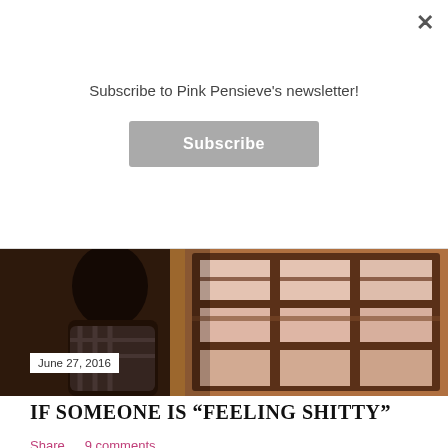Subscribe to Pink Pensieve's newsletter!
Subscribe
[Figure (photo): A woman with long dark curly hair sits looking out through a wooden grid window. Warm amber tones on the wall. She is wearing a plaid shirt.]
June 27, 2016
IF SOMEONE IS "FEELING SHITTY"
Share   9 comments